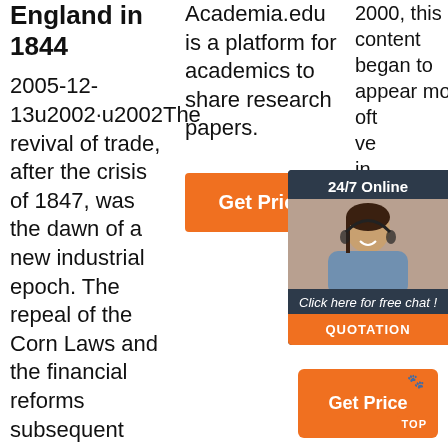England in 1844
2005-12-13u2002·u2002The revival of trade, after the crisis of 1847, was the dawn of a new industrial epoch. The repeal of the Corn Laws and the financial reforms subsequent thereon gave to English
Academia.edu is a platform for academics to share research papers.
[Figure (other): Orange 'Get Price' button]
2000, this content began to appear more oft... ve... in... nu... an... ph... ot... we... or...
[Figure (other): 24/7 Online chat widget with customer service representative photo, 'Click here for free chat!' text, and QUOTATION button]
[Figure (other): Orange 'Get Price' button with paw icon and TOP badge at bottom right]